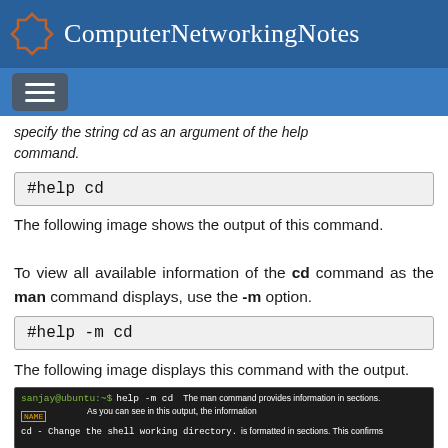ComputerNetworkingNotes
specify the string cd as an argument of the help command.
#help cd
The following image shows the output of this command.
To view all available information of the cd command as the man command displays, use the -m option.
#help -m cd
The following image displays this command with the output.
[Figure (screenshot): Terminal screenshot showing: sanjay@ubuntu:~$ help -m cd with overlay text about the man command providing information in sections, NAME label, and cd - Change the shell working directory text]